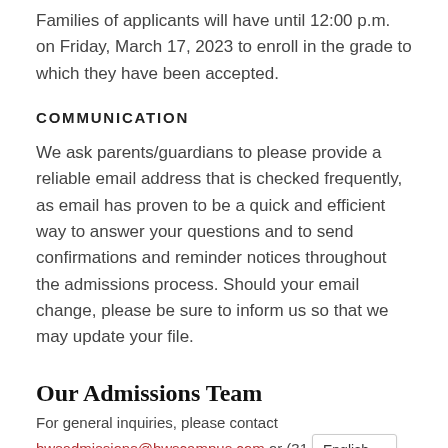Families of applicants will have until 12:00 p.m. on Friday, March 17, 2023 to enroll in the grade to which they have been accepted.
COMMUNICATION
We ask parents/guardians to please provide a reliable email address that is checked frequently, as email has proven to be a quick and efficient way to answer your questions and to send confirmations and reminder notices throughout the admissions process. Should your email change, please be sure to inform us so that we may update your file.
Our Admissions Team
For general inquiries, please contact bwsadmissions@bwscampus.com or (31  English  >